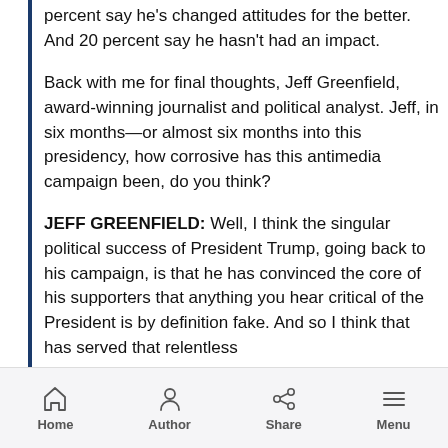percent say he's changed attitudes for the better. And 20 percent say he hasn't had an impact.
Back with me for final thoughts, Jeff Greenfield, award-winning journalist and political analyst. Jeff, in six months—or almost six months into this presidency, how corrosive has this antimedia campaign been, do you think?
JEFF GREENFIELD: Well, I think the singular political success of President Trump, going back to his campaign, is that he has convinced the core of his supporters that anything you hear critical of the President is by definition fake. And so I think that has served that relentless
Home   Author   Share   Menu